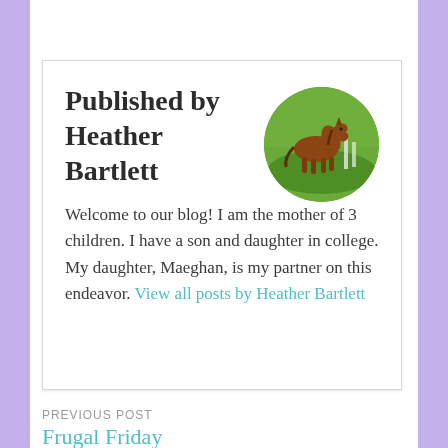Published by Heather Bartlett
Welcome to our blog! I am the mother of 3 children. I have a son and daughter in college. My daughter, Maeghan, is my partner on this endeavor. View all posts by Heather Bartlett
[Figure (photo): Circular profile photo of a brown horse grazing on green grass]
PREVIOUS POST
Frugal Friday